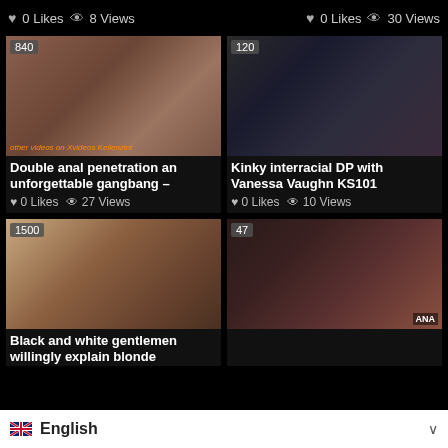0 Likes  8 Views
0 Likes  30 Views
[Figure (photo): Video thumbnail with duration badge 840]
[Figure (photo): Video thumbnail with duration badge 120]
Double anal penetration an unforgettable gangbang –
0 Likes  27 Views
Kinky interracial DP with Vanessa Vaughn KS101
0 Likes  10 Views
[Figure (photo): Video thumbnail with duration badge 1500]
[Figure (photo): Video thumbnail with duration badge 47]
Black and white gentlemen willingly explain blonde
English (language selector)